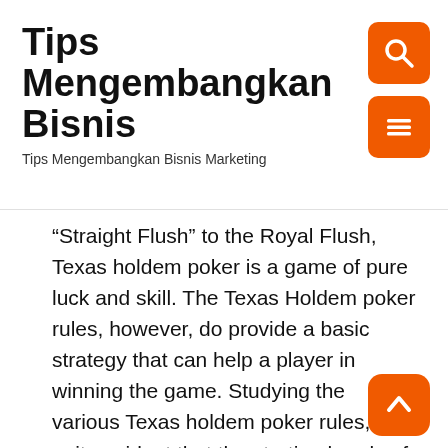Tips Mengembangkan Bisnis
Tips Mengembangkan Bisnis Marketing
“Straight Flush” to the Royal Flush, Texas holdem poker is a game of pure luck and skill. The Texas Holdem poker rules, however, do provide a basic strategy that can help a player in winning the game. Studying the various Texas holdem poker rules, it is quite evident that the starting hands of poker have much more to do with the requirement to have a better hand than any other poker game. The general standard of poker starts with the deal of the cards, with most varieties of poker following this general rule. The dealer is the